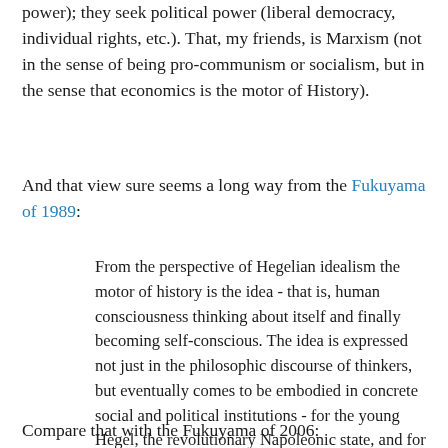power); they seek political power (liberal democracy, individual rights, etc.). That, my friends, is Marxism (not in the sense of being pro-communism or socialism, but in the sense that economics is the motor of History).
And that view sure seems a long way from the Fukuyama of 1989:
From the perspective of Hegelian idealism the motor of history is the idea - that is, human consciousness thinking about itself and finally becoming self-conscious. The idea is expressed not just in the philosophic discourse of thinkers, but eventually comes to be embodied in concrete social and political institutions - for the young Hegel, the revolutionary Napoleonic state, and for the older Hegel, the Prussian monarchy of the 1820s[.] . . . [T]he ideal will govern the material world in the long run[.]
Compare that with the Fukuyama of 2006: